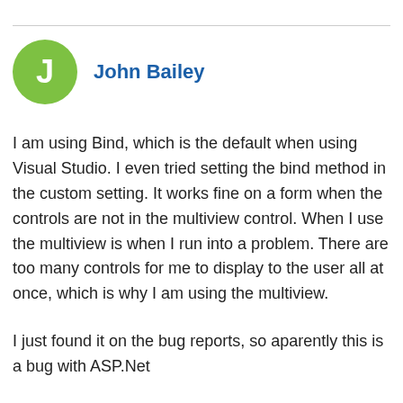[Figure (other): User avatar circle with letter J, green background]
John Bailey
I am using Bind, which is the default when using Visual Studio. I even tried setting the bind method in the custom setting. It works fine on a form when the controls are not in the multiview control. When I use the multiview is when I run into a problem. There are too many controls for me to display to the user all at once, which is why I am using the multiview.
I just found it on the bug reports, so aparently this is a bug with ASP.Net